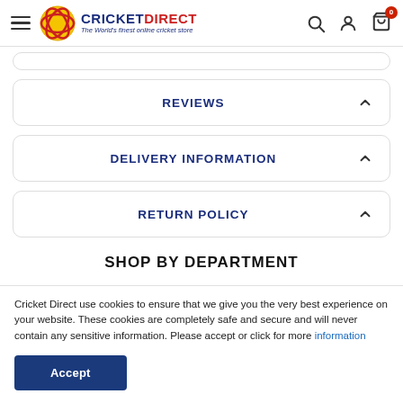Cricket Direct – The World's finest online cricket store
REVIEWS
DELIVERY INFORMATION
RETURN POLICY
SHOP BY DEPARTMENT
Cricket Direct use cookies to ensure that we give you the very best experience on your website. These cookies are completely safe and secure and will never contain any sensitive information. Please accept or click for more information
Accept